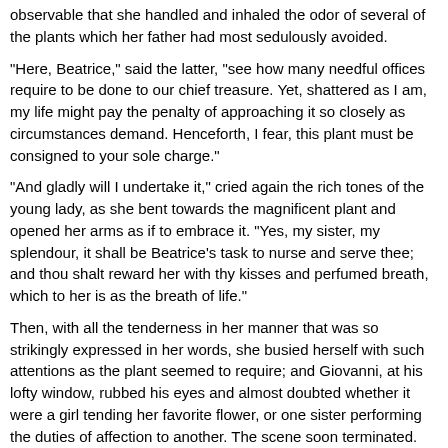observable that she handled and inhaled the odor of several of the plants which her father had most sedulously avoided.
"Here, Beatrice," said the latter, "see how many needful offices require to be done to our chief treasure. Yet, shattered as I am, my life might pay the penalty of approaching it so closely as circumstances demand. Henceforth, I fear, this plant must be consigned to your sole charge."
"And gladly will I undertake it," cried again the rich tones of the young lady, as she bent towards the magnificent plant and opened her arms as if to embrace it. "Yes, my sister, my splendour, it shall be Beatrice's task to nurse and serve thee; and thou shalt reward her with thy kisses and perfumed breath, which to her is as the breath of life."
Then, with all the tenderness in her manner that was so strikingly expressed in her words, she busied herself with such attentions as the plant seemed to require; and Giovanni, at his lofty window, rubbed his eyes and almost doubted whether it were a girl tending her favorite flower, or one sister performing the duties of affection to another. The scene soon terminated. Whether Dr. Rappaccini had finished his labors in the garden, or that his watchful eye had caught the stranger's face, he now took his daughter's arm and retired. Night was already closing in; oppressive exhalations seemed to proceed from the plants and steal upward past the open window; and Giovanni, closing the lattice, went to his couch and dreamed of a rich flower and beautiful girl. Flower and maiden were different, and yet the same, and fraught with some strange peril in either shape.
But there is an influence in the light of morning that tends to rectify whatever errors of fancy, or even of judgment, we may have incurred during the sun's decline, or among the shadows of the night, or in the less